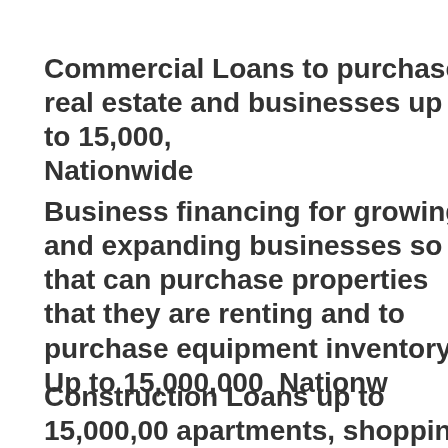Commercial Loans to purchase real estate and businesses up to 15,000, Nationwide
Business financing for growing and expanding businesses so that can purchase properties that they are renting and to purchase equipment inventory. Up to 15,000,000  Nationwide
Construction Loans up to 15,000,00 apartments, shopping centers, hote